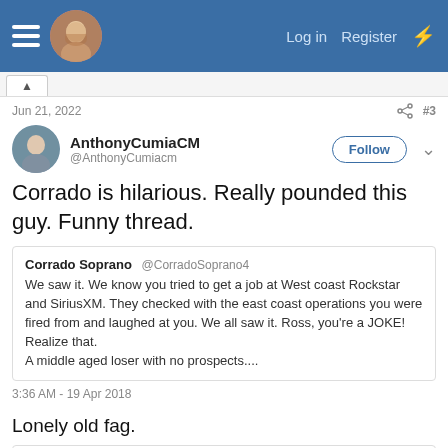Log in  Register
Jun 21, 2022  #3
AnthonyCumiaCM @AnthonyCumiacm
Corrado is hilarious. Really pounded this guy. Funny thread.
Corrado Soprano @CorradoSoprano4
We saw it. We know you tried to get a job at West coast Rockstar and SiriusXM. They checked with the east coast operations you were fired from and laughed at you. We all saw it. Ross, you're a JOKE! Realize that.
A middle aged loser with no prospects....
3:36 AM - 19 Apr 2018
Lonely old fag.
Big Van Vader, RIP-Allen-Lanier, IanHalperin and 24 others